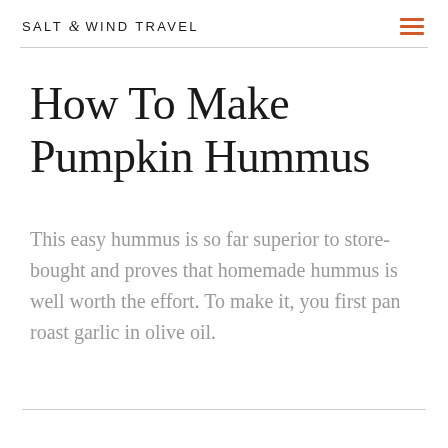SALT & WIND TRAVEL
How To Make Pumpkin Hummus
This easy hummus is so far superior to store-bought and proves that homemade hummus is well worth the effort. To make it, you first pan roast garlic in olive oil.